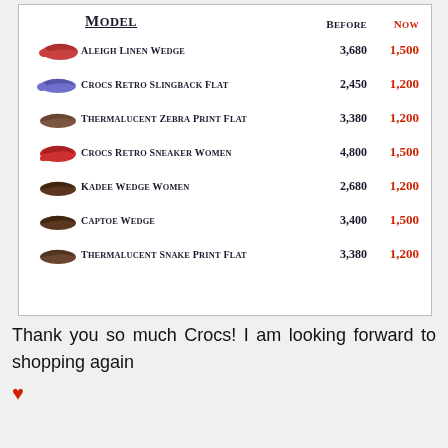[Figure (other): Photo of a shoe price list showing model names with Before and Now prices]
| Model | Before | Now |
| --- | --- | --- |
| Aleigh Linen Wedge | 3,680 | 1,500 |
| Crocs Retro Slingback Flat | 2,450 | 1,200 |
| Thermalucent Zebra Print Flat | 3,380 | 1,200 |
| Crocs Retro Sneaker Women | 4,800 | 1,500 |
| Kadee Wedge Women | 2,680 | 1,200 |
| Captoe Wedge | 3,400 | 1,500 |
| Thermalucent Snake Print Flat | 3,380 | 1,200 |
Thank you so much Crocs! I am looking forward to shopping again ♥